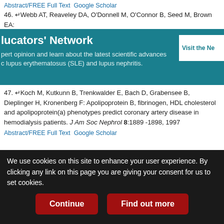Abstract/FREE Full Text   Google Scholar
46. ↵Webb AT, Reaveley DA, O'Donnell M, O'Connor B, Seed M, Brown EA:
[Figure (infographic): Teal/green promotional banner for 'Educators' Network' with text about expert opinion and scientific advances in lupus erythematosus (SLE) and lupus nephritis, and a 'Visit the Ne...' button.]
47. ↵Koch M, Kutkunn B, Trenkwalder E, Bach D, Grabensee B, Dieplinger H, Kronenberg F: Apolipoprotein B, fibrinogen, HDL cholesterol and apolipoprotein(a) phenotypes predict coronary artery disease in hemodialysis patients. J Am Soc Nephrol 8:1889 -1898, 1997
Abstract/FREE Full Text   Google Scholar
48. ↵Kraft HG, Lingenhel A, Bader G, Kostner GM, Utermann G: The relative electrophoretic mobility of apo(a) isoforms depends on the gel system: Proposal of a nomenclature for apo(a) phenotypes. Atherosclerosis 125:53 -61, 1996
CrossRef   PubMed   Google Scholar
We use cookies on this site to enhance your user experience. By clicking any link on this page you are giving your consent for us to set cookies.
Continue   Find out more